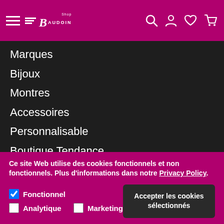Shop Baudoin navigation header with hamburger menu, logo, search, account, wishlist, and cart icons
Marques
Bijoux
Montres
Accessoires
Personnalisable
Boutique Tendance
Chèque cadeau
Outlet
Bijoux de Dos
Ce site Web utilise des cookies fonctionnels et non fonctionnels. Plus d'informations dans notre Privacy Policy.
Fonctionnel (checked), Analytique (unchecked), Marketing (unchecked)
Accepter les cookies sélectionnés